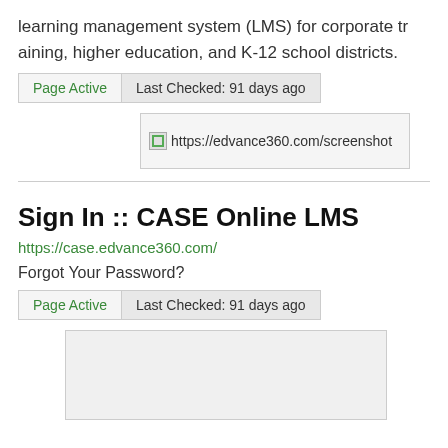learning management system (LMS) for corporate training, higher education, and K-12 school districts.
Page Active | Last Checked: 91 days ago
[Figure (screenshot): Broken image placeholder with URL text: https://edvance360.com/screenshot]
Sign In :: CASE Online LMS
https://case.edvance360.com/
Forgot Your Password?
Page Active | Last Checked: 91 days ago
[Figure (screenshot): Screenshot placeholder box (empty/white)]